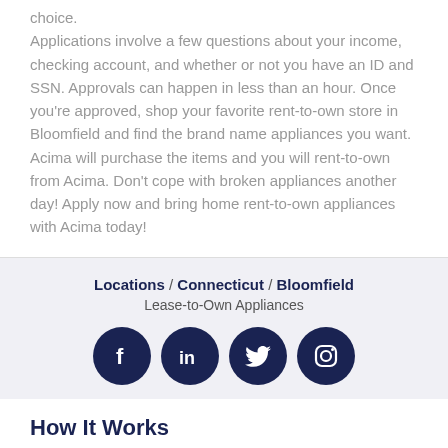choice. Applications involve a few questions about your income, checking account, and whether or not you have an ID and SSN. Approvals can happen in less than an hour. Once you're approved, shop your favorite rent-to-own store in Bloomfield and find the brand name appliances you want. Acima will purchase the items and you will rent-to-own from Acima. Don't cope with broken appliances another day! Apply now and bring home rent-to-own appliances with Acima today!
Locations / Connecticut / Bloomfield Lease-to-Own Appliances
[Figure (infographic): Four circular social media icons (Facebook, LinkedIn, Twitter, Instagram) in dark navy blue]
How It Works